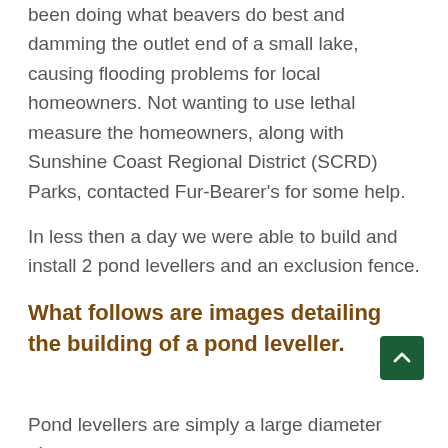been doing what beavers do best and damming the outlet end of a small lake, causing flooding problems for local homeowners. Not wanting to use lethal measure the homeowners, along with Sunshine Coast Regional District (SCRD) Parks, contacted Fur-Bearer's for some help.
In less then a day we were able to build and install 2 pond levellers and an exclusion fence.
What follows are images detailing the building of a pond leveller.
Pond levellers are simply a large diameter pipe